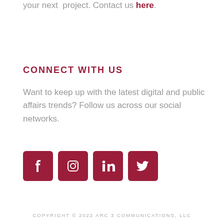your next project. Contact us here.
CONNECT WITH US
Want to keep up with the latest digital and public affairs trends? Follow us across our social networks.
[Figure (infographic): Four dark red square icon buttons for social media: Facebook (f), Instagram (camera), LinkedIn (in), Twitter (bird)]
COPYRIGHT © 2022 ARC 3 COMMUNICATIONS, LLC